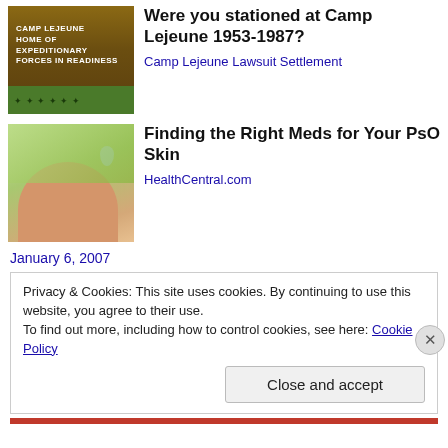[Figure (photo): Camp Lejeune sign at military base entrance, brick sign reading 'CAMP LEJEUNE HOME OF EXPEDITIONARY FORCES IN READINESS' with figures/trees in background]
Were you stationed at Camp Lejeune 1953-1987?
Camp Lejeune Lawsuit Settlement
[Figure (photo): Close-up of a hand with a drop/pill resting on it, green blurred background, medical/skincare context]
Finding the Right Meds for Your PsO Skin
HealthCentral.com
January 6, 2007
Privacy & Cookies: This site uses cookies. By continuing to use this website, you agree to their use.
To find out more, including how to control cookies, see here: Cookie Policy
Close and accept